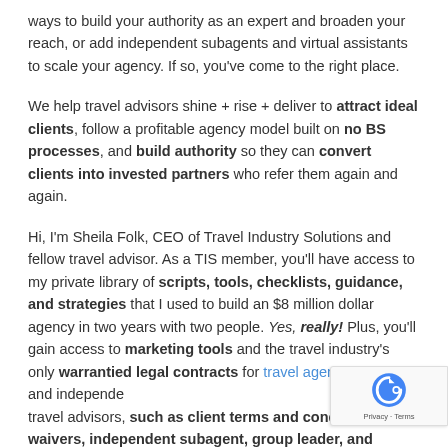ways to build your authority as an expert and broaden your reach, or add independent subagents and virtual assistants to scale your agency. If so, you've come to the right place.
We help travel advisors shine + rise + deliver to attract ideal clients, follow a profitable agency model built on no BS processes, and build authority so they can convert clients into invested partners who refer them again and again.
Hi, I'm Sheila Folk, CEO of Travel Industry Solutions and fellow travel advisor. As a TIS member, you'll have access to my private library of scripts, tools, checklists, guidance, and strategies that I used to build an $8 million dollar agency in two years with two people. Yes, really! Plus, you'll gain access to marketing tools and the travel industry's only warrantied legal contracts for travel agency owners and independent travel advisors, such as client terms and conditions, waivers, independent subagent, group leader, and